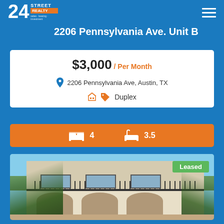[Figure (logo): 24 Street Realty logo — white '24' numeral with 'street' and 'REALTY' text on blue background]
2206 Pennsylvania Ave. Unit B
$3,000 / Per Month
2206 Pennsylvania Ave, Austin, TX
Duplex
4 bedrooms, 3.5 bathrooms
[Figure (photo): Exterior photo of duplex property at 2206 Pennsylvania Ave, Austin TX — Mediterranean-style building with arched doorways, balcony with iron railing, palm trees and tropical landscaping. Green 'Leased' badge in upper right corner.]